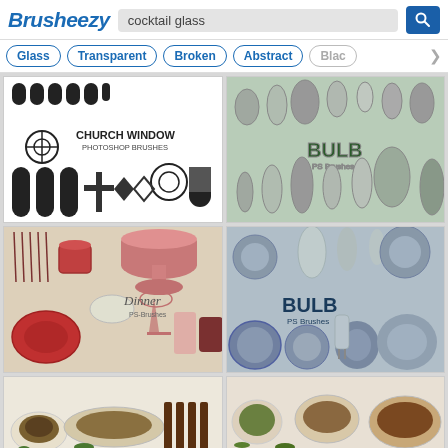Brusheezy — cocktail glass search results
Glass
Transparent
Broken
Abstract
Blac...
[Figure (screenshot): Church Window Photoshop Brushes pack — black and white illustrations of stained glass windows, rose windows, gothic arches, crosses]
[Figure (screenshot): Bulb PS Brushes pack — various types of light bulbs in grayscale/teal tones on green-gray background]
[Figure (screenshot): Dinner PS-Brushes pack — dinnerware including plates, cups, cake stand, wine glass, mug on warm beige background]
[Figure (screenshot): Bulb PS Brushes second pack — spot lights, candle bulbs, halogen bulbs, reflector bulbs on blue-gray background]
[Figure (screenshot): Dinner food brushes — plates of food, grilled items, salads on light background (partially visible)]
[Figure (screenshot): Dinner food brushes second — salad plates, roasted dishes on warm background (partially visible)]